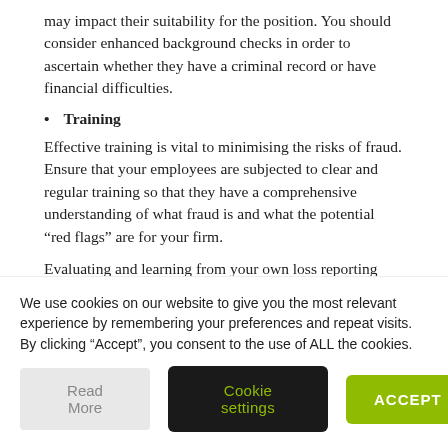may impact their suitability for the position. You should consider enhanced background checks in order to ascertain whether they have a criminal record or have financial difficulties.
Training
Effective training is vital to minimising the risks of fraud. Ensure that your employees are subjected to clear and regular training so that they have a comprehensive understanding of what fraud is and what the potential “red flags” are for your firm.
[partially visible cut-off text line]
We use cookies on our website to give you the most relevant experience by remembering your preferences and repeat visits. By clicking “Accept”, you consent to the use of ALL the cookies.
Read More
Cookie settings
ACCEPT